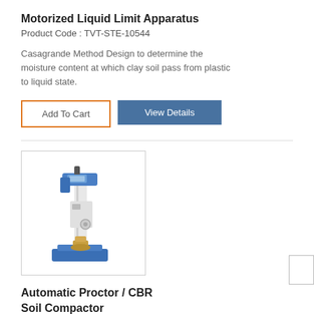Motorized Liquid Limit Apparatus
Product Code : TVT-STE-10544
Casagrande Method Design to determine the moisture content at which clay soil pass from plastic to liquid state.
[Figure (photo): Photo of a motorized liquid limit apparatus — a tall white machine with blue accents and a brass base component]
Automatic Proctor / CBR Soil Compactor